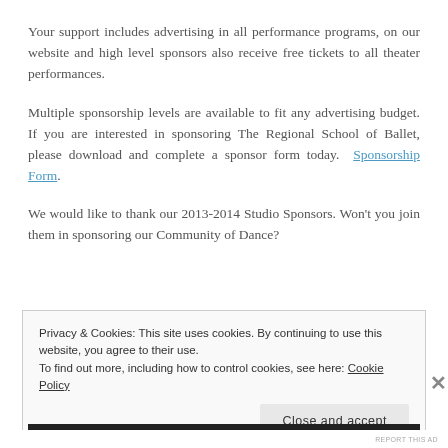Your support includes advertising in all performance programs, on our website and high level sponsors also receive free tickets to all theater performances.
Multiple sponsorship levels are available to fit any advertising budget. If you are interested in sponsoring The Regional School of Ballet, please download and complete a sponsor form today.  Sponsorship Form.
We would like to thank our 2013-2014 Studio Sponsors. Won't you join them in sponsoring our Community of Dance?
Privacy & Cookies: This site uses cookies. By continuing to use this website, you agree to their use.
To find out more, including how to control cookies, see here: Cookie Policy
Close and accept